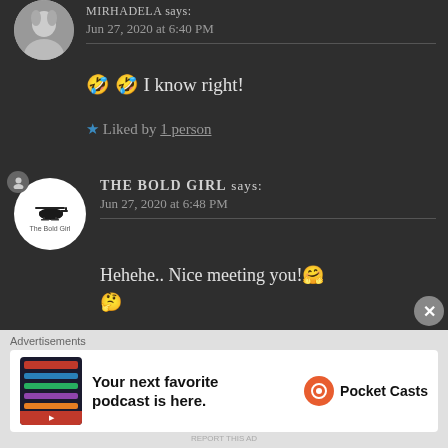[Figure (photo): Circular avatar photo of MIRHADELA, partially visible at top]
MIRHADELA says:
Jun 27, 2020 at 6:40 PM
🤣🤣 I know right!
★ Liked by 1 person
[Figure (logo): The Bold Girl circular logo with helicopter icon and text]
THE BOLD GIRL says:
Jun 27, 2020 at 6:48 PM
Hehehe.. Nice meeting you!🤗
🤔
Btw, from where did you find
Advertisements
[Figure (screenshot): Pocket Casts podcast app advertisement banner reading: Your next favorite podcast is here.]